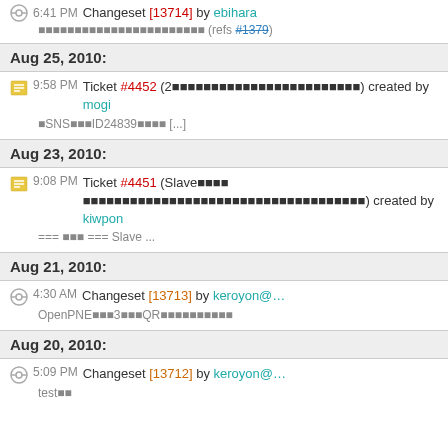6:41 PM Changeset [13714] by ebihara - (refs #1379)
Aug 25, 2010:
9:58 PM Ticket #4452 (2...) created by mogi - SNS ID24839 [...]
Aug 23, 2010:
9:08 PM Ticket #4451 (Slave...) created by kiwpon - === ... === Slave ...
Aug 21, 2010:
4:30 AM Changeset [13713] by keroyon@... - OpenPNE 3 QR
Aug 20, 2010:
5:09 PM Changeset [13712] by keroyon@... - test